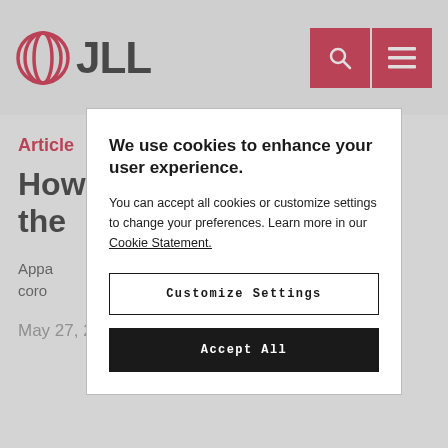JLL
Article
How... the...
Appa... coro...
May 27, 2020
We use cookies to enhance your user experience. You can accept all cookies or customize settings to change your preferences. Learn more in our Cookie Statement.
Customize Settings
Accept All